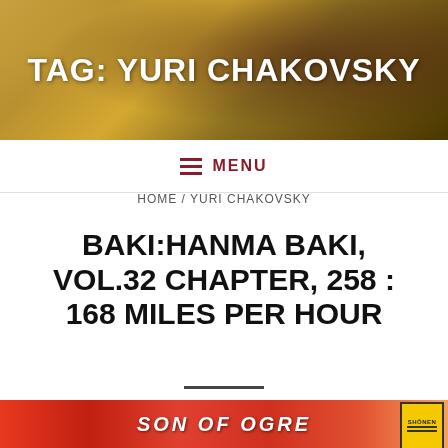TAG: YURI CHAKOVSKY
MENU
HOME / YURI CHAKOVSKY
BAKI:HANMA BAKI, VOL.32 CHAPTER, 258 : 168 MILES PER HOUR
[Figure (illustration): Bottom manga image strip showing 'SON OF OGRE' text with red/orange flames and manga art, with a yellow Shonen badge on the right]